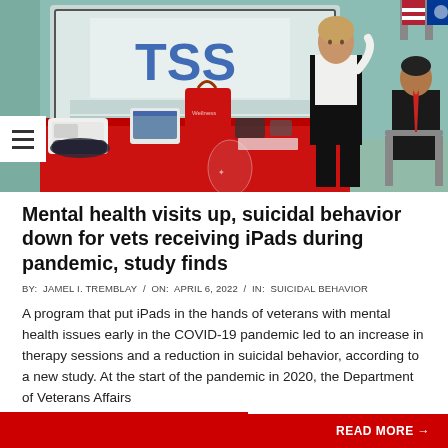[Figure (photo): A room with a red-covered table showing medical devices including blood pressure monitors, a tablet device, and red tote bag. A woman in a white jacket stands speaking near a display screen showing 'TSS', and a man in a dark suit sits to the right.]
Mental health visits up, suicidal behavior down for vets receiving iPads during pandemic, study finds
BY:  JAMEL I. TREMBLAY  /  ON:  APRIL 6, 2022  /  IN:  SUICIDAL BEHAVIOR
A program that put iPads in the hands of veterans with mental health issues early in the COVID-19 pandemic led to an increase in therapy sessions and a reduction in suicidal behavior, according to a new study. At the start of the pandemic in 2020, the Department of Veterans Affairs
READ MORE →